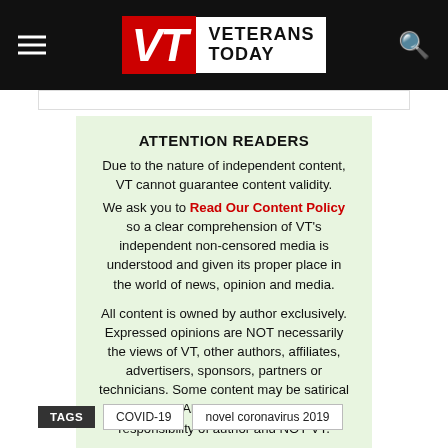VT Veterans Today
ATTENTION READERS
Due to the nature of independent content, VT cannot guarantee content validity.
We ask you to Read Our Content Policy so a clear comprehension of VT's independent non-censored media is understood and given its proper place in the world of news, opinion and media.

All content is owned by author exclusively. Expressed opinions are NOT necessarily the views of VT, other authors, affiliates, advertisers, sponsors, partners or technicians. Some content may be satirical in nature. All images within are full responsibility of author and NOT VT.

About VT - Read Full Policy Notice - Comment Policy
TAGS COVID-19 novel coronavirus 2019